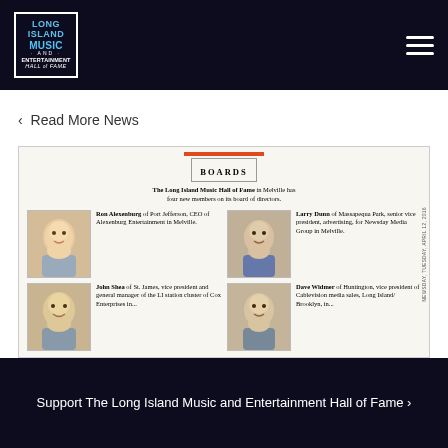[Figure (logo): Long Island Music and Entertainment Hall of Fame logo in white box with blue accent text on dark navy background]
< Read More News
[Figure (screenshot): Newspaper clipping showing BOARDS section from Newsday, Tuesday, April 12, 2016. The Long Island Music Hall of Fame in Melville has four new members on its board of directors: Ron Alexenburg of Port Jefferson, CEO of Alexenburg Entertainment in Melville; Larry Dunn of Massapequa Park, senior vice president, advertising, for Newsday Media Group in Melville; John Shea of St. James, vice president and general manager of the LI station cluster of Cox Enterprises in...; Dave Widmer of Huntington, vice president of Cablevision media sales, Long Island/Brooklyn, in...]
Support The Long Island Music and Entertainment Hall of Fame >